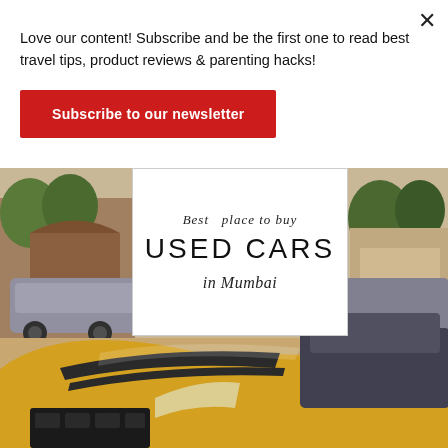Love our content! Subscribe and be the first one to read best travel tips, product reviews & parenting hacks!
Subscribe to our newsletter
[Figure (photo): A photo of used cars in a parking area in Mumbai. In the foreground is a yellow/gold car with dark racing stripes on the hood. In the background are grey cars and a building with trees. Overlaid on the photo is a white bordered card reading 'Best place to buy USED CARS in Mumbai'.]